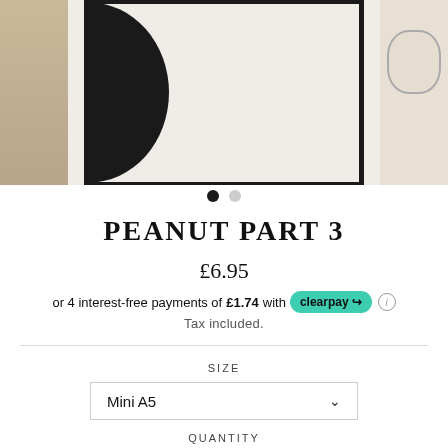[Figure (photo): Product image carousel showing an abstract black and cream art print in a frame, with partial lifestyle images on left and right sides. Two navigation dots below.]
PEANUT PART 3
£6.95
or 4 interest-free payments of £1.74 with clearpay
Tax included.
SIZE
Mini A5
QUANTITY